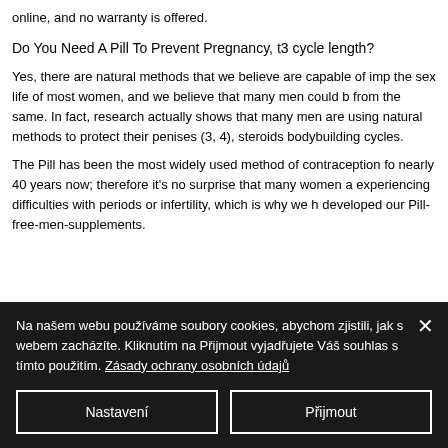online, and no warranty is offered.
Do You Need A Pill To Prevent Pregnancy, t3 cycle length?
Yes, there are natural methods that we believe are capable of improving the sex life of most women, and we believe that many men could benefit from the same. In fact, research actually shows that many men are using natural methods to protect their penises (3, 4), steroids bodybuilding cycles.
The Pill has been the most widely used method of contraception for nearly 40 years now; therefore it's no surprise that many women are experiencing difficulties with periods or infertility, which is why we have developed our Pill-free-men-supplements.
Na našem webu používáme soubory cookies, abychom zjistili, jak s webem zacházíte. Kliknutím na Přijmout vyjadřujete Váš souhlas s tímto použitím. Zásady ochrany osobních údajů
Nastavení
Přijmout